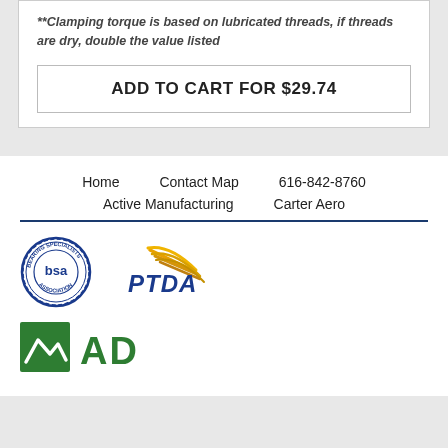**Clamping torque is based on lubricated threads, if threads are dry, double the value listed
ADD TO CART FOR $29.74
Home   Contact Map   616-842-8760
Active Manufacturing   Carter Aero
[Figure (logo): Bearing Specialists Association (BSA) circular seal logo in blue]
[Figure (logo): PTDA logo with gold swoosh lines and blue text]
[Figure (logo): AD logo with green square icon and green AD text]